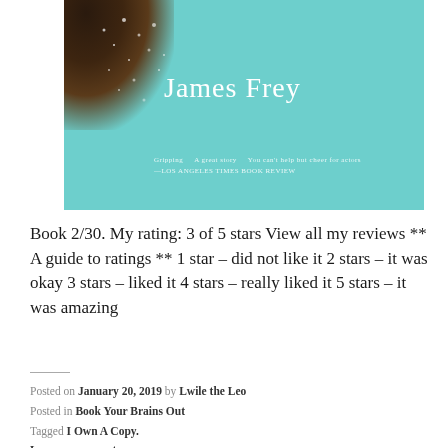[Figure (photo): Book cover with teal/turquoise background, author name James Frey, dark decorative element with sparkles in top-left corner, subtitle text at bottom]
Book 2/30. My rating: 3 of 5 stars View all my reviews ** A guide to ratings ** 1 star – did not like it 2 stars – it was okay 3 stars – liked it 4 stars – really liked it 5 stars – it was amazing
Posted on January 20, 2019 by Lwile the Leo
Posted in Book Your Brains Out
Tagged I Own A Copy.
Leave a comment